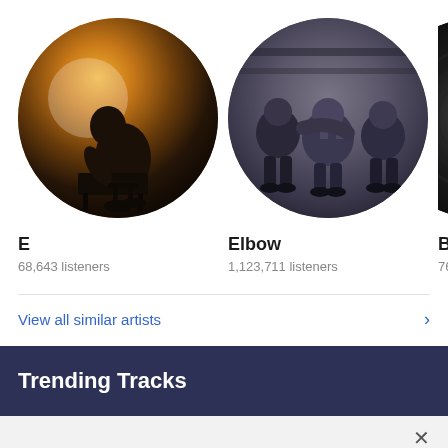[Figure (photo): Circular artist photo for E - silhouette of a person hunched over a piano against a golden/warm background]
E
68,643 listeners
[Figure (photo): Circular artist photo for Elbow - group of men sitting together in a dark blue/grey toned setting]
Elbow
1,123,711 listeners
[Figure (photo): Partial circular artist photo for Bad... - dark/black circular image cropped at right edge]
Bad
769,0...
View all similar artists
Trending Tracks